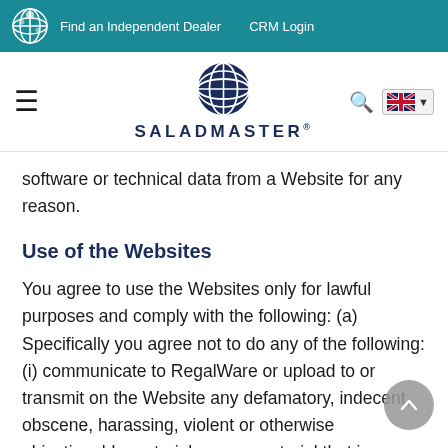Find an Independent Dealer   CRM Login
[Figure (logo): Saladmaster logo with globe icon and brand name SALADMASTER]
software or technical data from a Website for any reason.
Use of the Websites
You agree to use the Websites only for lawful purposes and comply with the following: (a) Specifically you agree not to do any of the following: (i) communicate to RegalWare or upload to or transmit on the Website any defamatory, indecent, obscene, harassing, violent or otherwise objectionable material, or any material that is, or may be, protected by copyright,